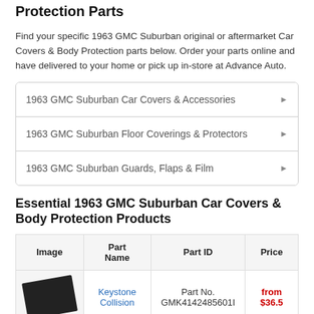Protection Parts
Find your specific 1963 GMC Suburban original or aftermarket Car Covers & Body Protection parts below. Order your parts online and have delivered to your home or pick up in-store at Advance Auto.
1963 GMC Suburban Car Covers & Accessories
1963 GMC Suburban Floor Coverings & Protectors
1963 GMC Suburban Guards, Flaps & Film
Essential 1963 GMC Suburban Car Covers & Body Protection Products
| Image | Part Name | Part ID | Price |
| --- | --- | --- | --- |
| [image] | Keystone Collision | Part No. GMK4142485601I | from $36.5 |